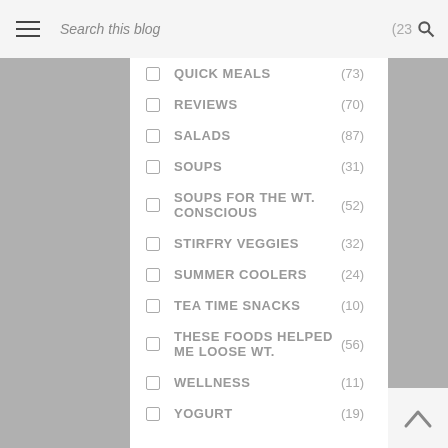QUICK HEALT... Search this blog (23🔍
QUICK MEALS (73)
REVIEWS (70)
SALADS (87)
SOUPS (31)
SOUPS FOR THE WT. CONSCIOUS (52)
STIRFRY VEGGIES (32)
SUMMER COOLERS (24)
TEA TIME SNACKS (10)
THESE FOODS HELPED ME LOOSE WT. (56)
WELLNESS (11)
YOGURT (19)